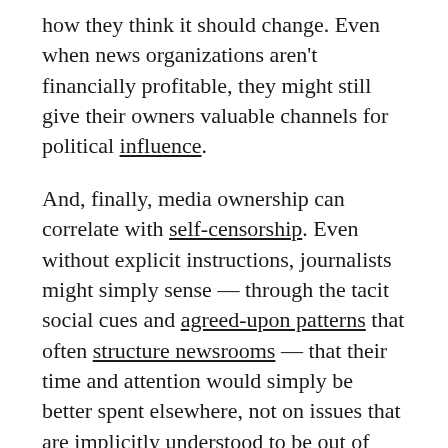how they think it should change. Even when news organizations aren't financially profitable, they might still give their owners valuable channels for political influence.
And, finally, media ownership can correlate with self-censorship. Even without explicit instructions, journalists might simply sense — through the tacit social cues and agreed-upon patterns that often structure newsrooms — that their time and attention would simply be better spent elsewhere, not on issues that are implicitly understood to be out of alignment with what their organization's culture or leadership is thought to value.
Bezos's purchase of The Post, though, made me